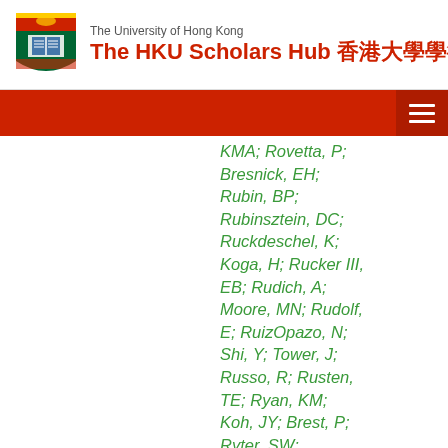The University of Hong Kong — The HKU Scholars Hub 香港大學學術庫
KMA; Rovetta, P; Bresnick, EH; Rubin, BP; Rubinsztein, DC; Ruckdeschel, K; Koga, H; Rucker III, EB; Rudich, A; Moore, MN; Rudolf, E; RuizOpazo, N; Shi, Y; Tower, J; Russo, R; Rusten, TE; Ryan, KM; Koh, JY; Brest, P; Ryter, SW; Sabatini, DM; Mora, R; Sadoshima, J; Saha, T; Saitoh, T;